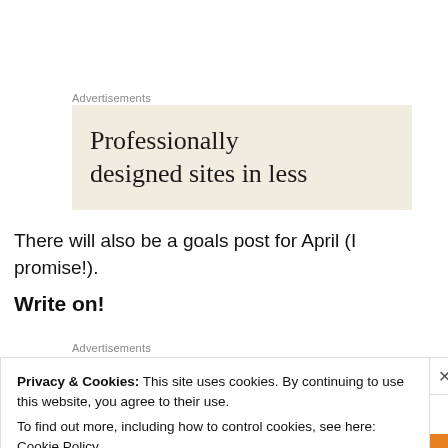Advertisements
[Figure (other): Advertisement banner with beige background showing text 'Professionally designed sites in less']
There will also be a goals post for April (I promise!).
Write on!
Advertisements
Privacy & Cookies: This site uses cookies. By continuing to use this website, you agree to their use.
To find out more, including how to control cookies, see here: Cookie Policy